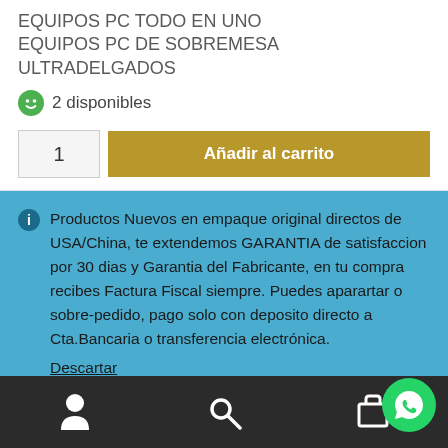EQUIPOS PC TODO EN UNO
EQUIPOS PC DE SOBREMESA ULTRADELGADOS
2 disponibles
1
Añadir al carrito
Productos Nuevos en empaque original directos de USA/China, te extendemos GARANTIA de satisfaccion por 30 dias y Garantia del Fabricante, en tu compra recibes Factura Fiscal siempre. Puedes aparartar o sobre-pedido, pago solo con deposito directo a Cta.Bancaria o transferencia electrónica.
Descartar